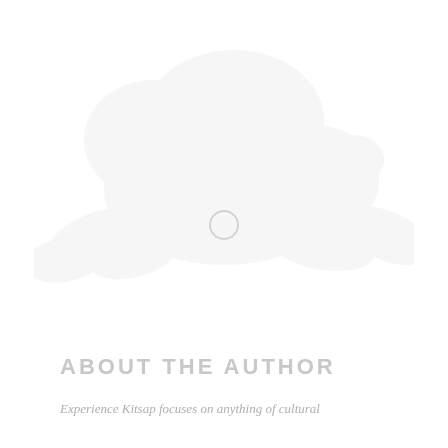[Figure (illustration): A faint white/light-gray silhouette illustration of a running or leaping animal (appears to be a rabbit or hare) viewed from the side, with outstretched legs and a small circular element near its midsection. The image is very light against a white background.]
ABOUT THE AUTHOR
Experience Kitsap focuses on anything of cultural